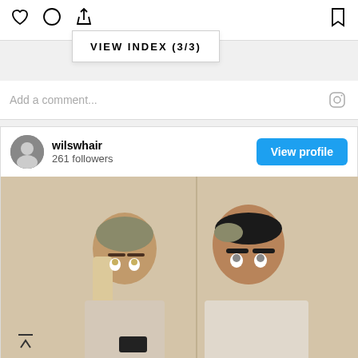[Figure (screenshot): Instagram UI screenshot showing action icons (heart, comment, share, bookmark), a 'VIEW INDEX (3/3)' popup tooltip, a comment input bar with Instagram icon, and a post from user 'wilswhair' with 261 followers and a 'View profile' button. The post image shows two people with editorial hair/makeup styling against a light background.]
VIEW INDEX (3/3)
Add a comment...
wilswhair
261 followers
View profile